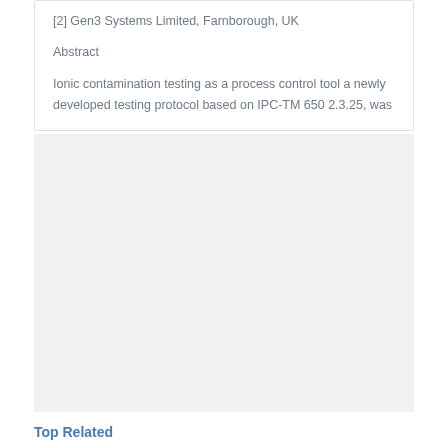[2] Gen3 Systems Limited, Farnborough, UK
Abstract
Ionic contamination testing as a process control tool a newly developed testing protocol based on IPC-TM 650 2.3.25, was
[Figure (other): Gray placeholder image box]
Top Related